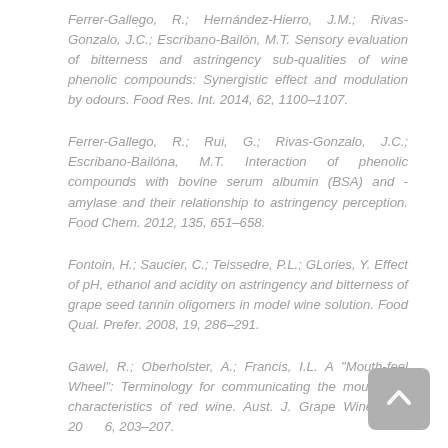Ferrer-Gallego, R.; Hernández-Hierro, J.M.; Rivas-Gonzalo, J.C.; Escribano-Bailón, M.T. Sensory evaluation of bitterness and astringency sub-qualities of wine phenolic compounds: Synergistic effect and modulation by odours. Food Res. Int. 2014, 62, 1100–1107.
Ferrer-Gallego, R.; Rui, G.; Rivas-Gonzalo, J.C.; Escribano-Bailóna, M.T. Interaction of phenolic compounds with bovine serum albumin (BSA) and -amylase and their relationship to astringency perception. Food Chem. 2012, 135, 651–658.
Fontoin, H.; Saucier, C.; Teissedre, P.L.; GLories, Y. Effect of pH, ethanol and acidity on astringency and bitterness of grape seed tannin oligomers in model wine solution. Food Qual. Prefer. 2008, 19, 286–291.
Gawel, R.; Oberholster, A.; Francis, I.L. A "Mouth-feel Wheel": Terminology for communicating the mouth feel characteristics of red wine. Aust. J. Grape Wine Res. 2000, 6, 203–207.